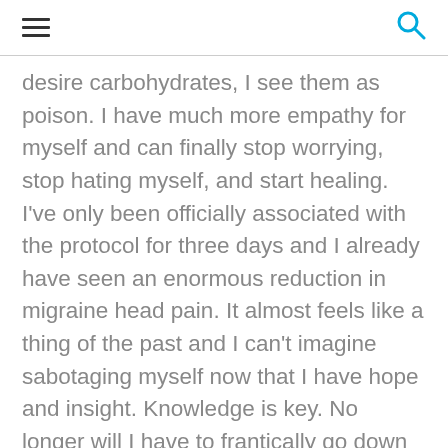[hamburger menu] [search icon]
desire carbohydrates, I see them as poison. I have much more empathy for myself and can finally stop worrying, stop hating myself, and start healing. I've only been officially associated with the protocol for three days and I already have seen an enormous reduction in migraine head pain. It almost feels like a thing of the past and I can't imagine sabotaging myself now that I have hope and insight. Knowledge is key. No longer will I have to frantically go down rabbit holes chasing the latest incorrect, fad theory of diet and migraine. I don't have to fear food and its